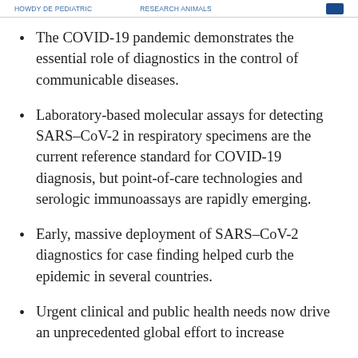HOWDY DE PEDIATRIC | RESEARCH ANIMALS
The COVID-19 pandemic demonstrates the essential role of diagnostics in the control of communicable diseases.
Laboratory-based molecular assays for detecting SARS–CoV-2 in respiratory specimens are the current reference standard for COVID-19 diagnosis, but point-of-care technologies and serologic immunoassays are rapidly emerging.
Early, massive deployment of SARS–CoV-2 diagnostics for case finding helped curb the epidemic in several countries.
Urgent clinical and public health needs now drive an unprecedented global effort to increase